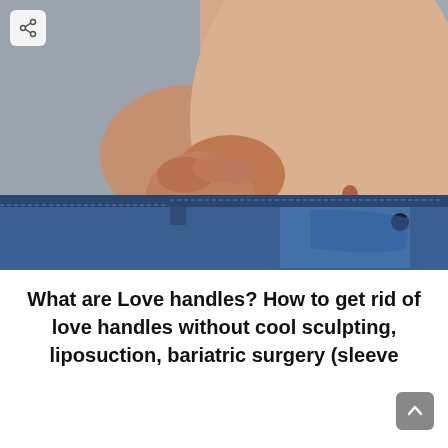[Figure (photo): Close-up photo of a person's midsection, wearing blue denim jeans, with their hand pinching belly/side fat (love handles). Background is grey.]
What are Love handles? How to get rid of love handles without cool sculpting, liposuction, bariatric surgery (sleeve